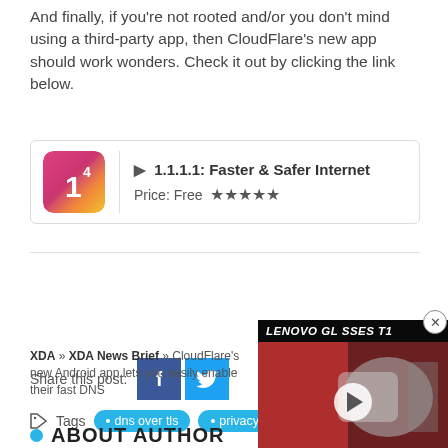And finally, if you're not rooted and/or you don't mind using a third-party app, then CloudFlare's new app should work wonders. Check it out by clicking the link below.
[Figure (other): App store listing card for '1.1.1.1: Faster & Safer Internet', showing app icon, title with play button, price 'Free' and 5 stars rating]
Source: CloudFlare
Share this post:
dns over tls
privacy
[Figure (screenshot): Video overlay showing Lenovo Glasses T1 product video thumbnail with play button]
XDA » XDA News Brief » CloudFlare's new Android app lets you easily enable their fast DNS
ABOUT AUTHOR